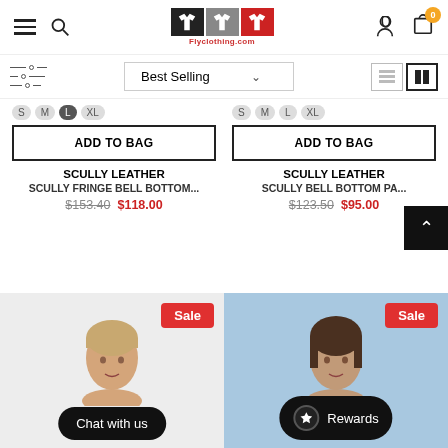Flyclothing.com header with logo, search, cart (0)
Best Selling (sort dropdown)
S M L XL — ADD TO BAG — SCULLY LEATHER — SCULLY FRINGE BELL BOTTOM... — $153.40  $118.00
S M L XL — ADD TO BAG — SCULLY LEATHER — SCULLY BELL BOTTOM PA... — $123.50  $95.00
[Figure (screenshot): Two product cards at bottom showing female model photos with Sale badges, Chat with us button, and Rewards button]